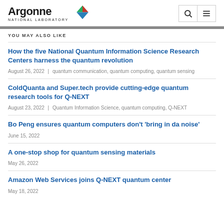[Figure (logo): Argonne National Laboratory logo with triangle icon and navigation icons (search and menu)]
YOU MAY ALSO LIKE
How the five National Quantum Information Science Research Centers harness the quantum revolution
August 26, 2022 | quantum communication, quantum computing, quantum sensing
ColdQuanta and Super.tech provide cutting-edge quantum research tools for Q-NEXT
August 23, 2022 | Quantum Information Science, quantum computing, Q-NEXT
Bo Peng ensures quantum computers don't 'bring in da noise'
June 15, 2022
A one-stop shop for quantum sensing materials
May 26, 2022
Amazon Web Services joins Q-NEXT quantum center
May 18, 2022